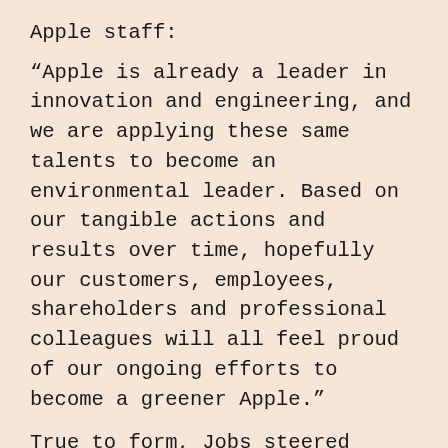Apple staff:
“Apple is already a leader in innovation and engineering, and we are applying these same talents to become an environmental leader. Based on our tangible actions and results over time, hopefully our customers, employees, shareholders and professional colleagues will all feel proud of our ongoing efforts to become a greener Apple.”
True to form, Jobs steered Apple to a different environmental approach than that taken by other companies. In one of his first interviews after returning from leave, Jobs said that it was the total environmental impact of a business’